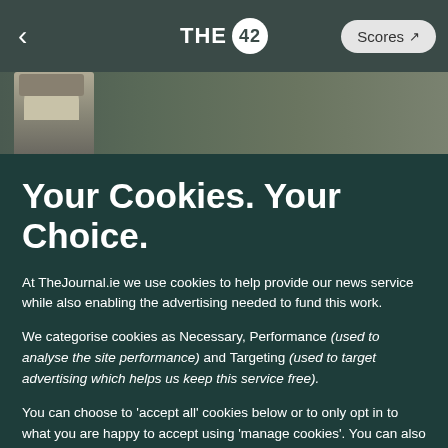THE 42 — Scores
[Figure (photo): A person wearing a cap photographed from behind against a dark green blurred background]
Your Cookies. Your Choice.
At TheJournal.ie we use cookies to help provide our news service while also enabling the advertising needed to fund this work.
We categorise cookies as Necessary, Performance (used to analyse the site performance) and Targeting (used to target advertising which helps us keep this service free).
You can choose to 'accept all' cookies below or to only opt in to what you are happy to accept using 'manage cookies'. You can also change your cookie settings at any time and learn more about the cookies we use in our